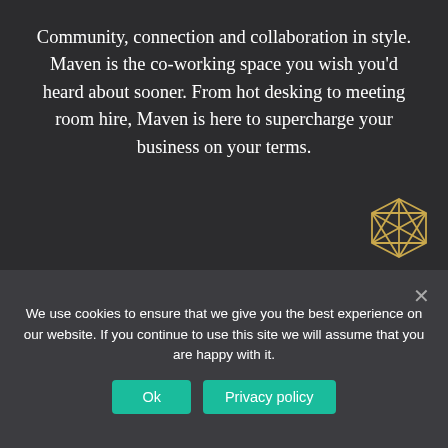Community, connection and collaboration in style. Maven is the co-working space you wish you'd heard about sooner. From hot desking to meeting room hire, Maven is here to supercharge your business on your terms.
FAQ's
HIRE OUR SPACE
EVENTS
COVID-19 POLICY
PRIVACY POLICY
TERMS & CONDITIONS
[Figure (logo): Golden geometric gem/diamond wireframe logo in bottom right]
We use cookies to ensure that we give you the best experience on our website. If you continue to use this site we will assume that you are happy with it.